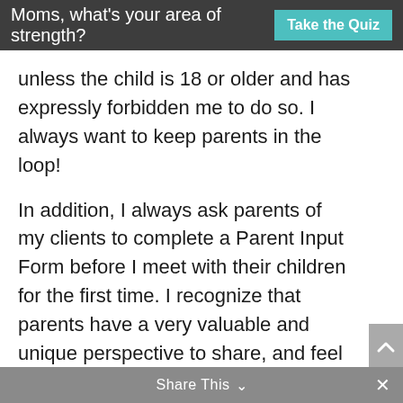Moms, what's your area of strength?  Take the Quiz
unless the child is 18 or older and has expressly forbidden me to do so. I always want to keep parents in the loop!
In addition, I always ask parents of my clients to complete a Parent Input Form before I meet with their children for the first time. I recognize that parents have a very valuable and unique perspective to share, and feel I am not as effective or helpful without having the benefit of hearing that perspective. (So I will remind you a time or two about completing it, if you haven't had a chance to do so yet.  )
Share This  ∨   ×